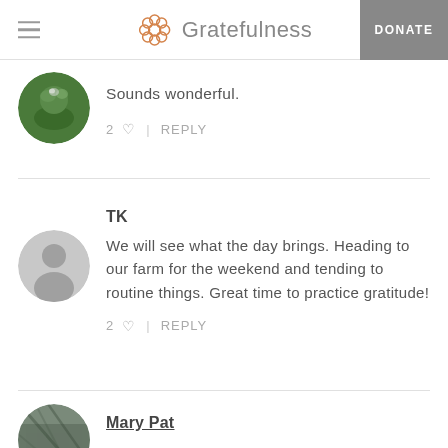Gratefulness | DONATE
Sounds wonderful.
2 ♡  |  REPLY
TK
We will see what the day brings. Heading to our farm for the weekend and tending to routine things. Great time to practice gratitude!
2 ♡  |  REPLY
Mary Pat